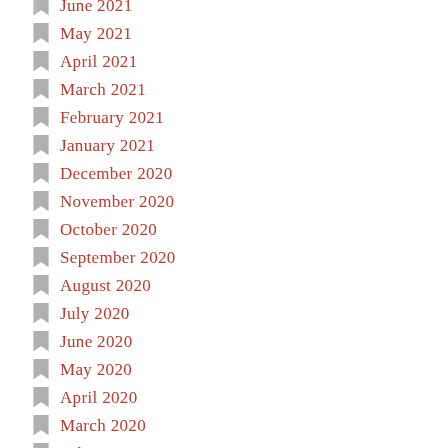June 2021
May 2021
April 2021
March 2021
February 2021
January 2021
December 2020
November 2020
October 2020
September 2020
August 2020
July 2020
June 2020
May 2020
April 2020
March 2020
February 2020
January 2020
December